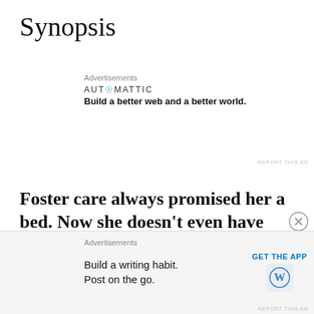Synopsis
Advertisements
AUTOMATTIC
Build a better web and a better world.
REPORT THIS AD
Foster care always promised her a bed. Now she doesn't even have that.
Coralee (Corey) Reed can't wait to trade her current foster house for Harmony Hall, the dorm for music majors. Corey arrives at Borns College with her pawn-shop violin and a
Advertisements
Build a writing habit.
Post on the go.
GET THE APP
REPORT THIS AD